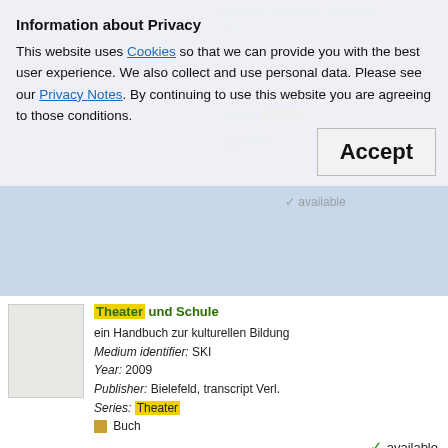Information about Privacy
This website uses Cookies so that we can provide you with the best user experience. We also collect and use personal data. Please see our Privacy Notes. By continuing to use this website you are agreeing to those conditions.
Accept
Theater und Schule
ein Handbuch zur kulturellen Bildung
Medium identifier: SKI
Year: 2009
Publisher: Bielefeld, transcript Verl.
Series: Theater
Buch
available
Politisch Theater machen